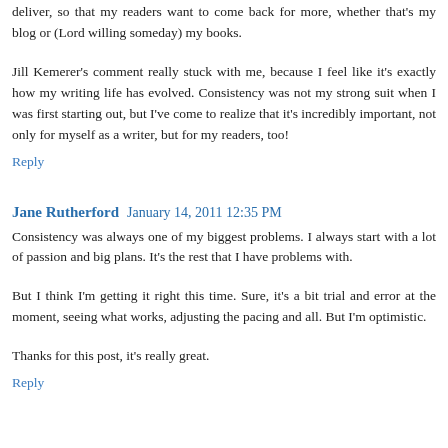deliver, so that my readers want to come back for more, whether that's my blog or (Lord willing someday) my books.
Jill Kemerer's comment really stuck with me, because I feel like it's exactly how my writing life has evolved. Consistency was not my strong suit when I was first starting out, but I've come to realize that it's incredibly important, not only for myself as a writer, but for my readers, too!
Reply
Jane Rutherford  January 14, 2011 12:35 PM
Consistency was always one of my biggest problems. I always start with a lot of passion and big plans. It's the rest that I have problems with.
But I think I'm getting it right this time. Sure, it's a bit trial and error at the moment, seeing what works, adjusting the pacing and all. But I'm optimistic.
Thanks for this post, it's really great.
Reply